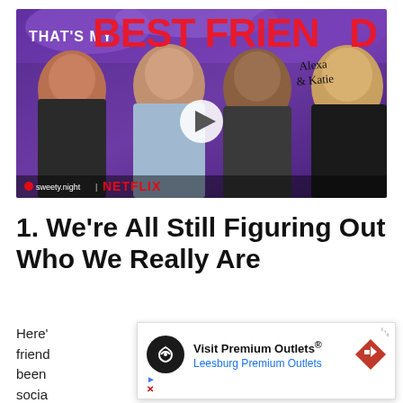[Figure (screenshot): Video thumbnail for Netflix show 'Alexa & Katie' with text overlay 'THAT'S MY BEST FRIEND', four women posing, a play button, and NETFLIX branding with sweety.night watermark at bottom left.]
1. We're All Still Figuring Out Who We Really Are
Here' ... friend ... been ... socia...
[Figure (screenshot): Advertisement overlay: Visit Premium Outlets® — Leesburg Premium Outlets, with circular dark logo icon and red navigation arrow icon.]